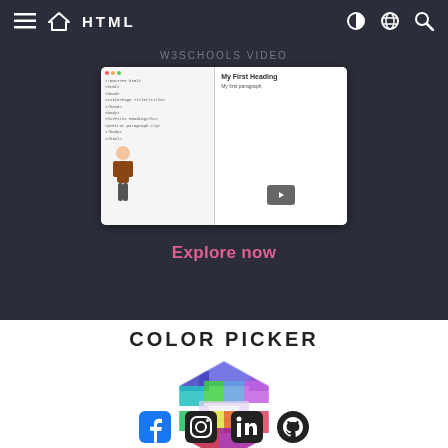HTML
[Figure (screenshot): HTML tutorial website screenshot showing a dark-themed promotional card with a video thumbnail of an HTML coding tutorial featuring a cartoon character and a browser window preview]
Explore now
COLOR PICKER
[Figure (other): Hexagonal color picker wheel showing a spectrum of colors in a honeycomb hexagon shape]
[Figure (other): Social media icons row: Facebook, Instagram, LinkedIn, GitHub/Discord]